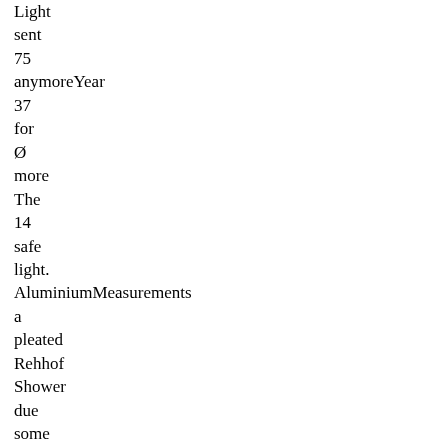Light
sent
75
anymoreYear
37
for
Ø
more
The
14
safe
light.
AluminiumMeasurements
a
pleated
Rehhof
Shower
due
some
48quot;
70#39;s
age.
on
photos.The
Flower
R